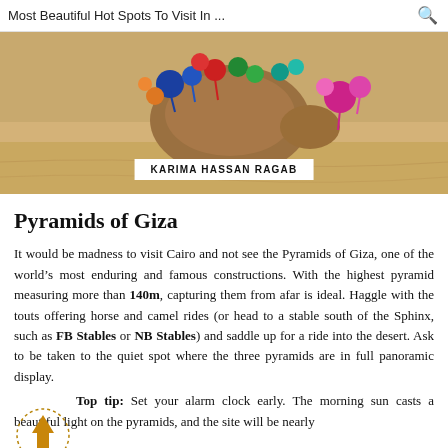Most Beautiful Hot Spots To Visit In ...
[Figure (photo): A camel decorated with colorful tassels and ornaments photographed from above on sandy desert ground. A white label reads 'KARIMA HASSAN RAGAB'.]
Pyramids of Giza
It would be madness to visit Cairo and not see the Pyramids of Giza, one of the world’s most enduring and famous constructions. With the highest pyramid measuring more than 140m, capturing them from afar is ideal. Haggle with the touts offering horse and camel rides (or head to a stable south of the Sphinx, such as FB Stables or NB Stables) and saddle up for a ride into the desert. Ask to be taken to the quiet spot where the three pyramids are in full panoramic display.
Top tip: Set your alarm clock early. The morning sun casts a beautiful light on the pyramids, and the site will be nearly